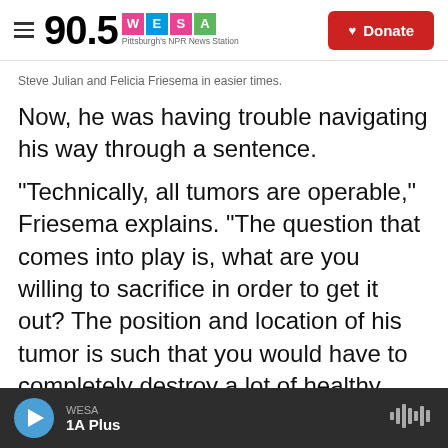90.5 WESA — Pittsburgh's NPR News Station | Donate
Steve Julian and Felicia Friesema in easier times.
Now, he was having trouble navigating his way through a sentence.
"Technically, all tumors are operable," Friesema explains. "The question that comes into play is, what are you willing to sacrifice in order to get it out? The position and location of his tumor is such that you would have to completely destroy a lot of healthy brain tissue in order to remove it. You would be creating a situation of paralysis, major cognitive dysfunction, irreversible brain damage —
WESA | 1A Plus